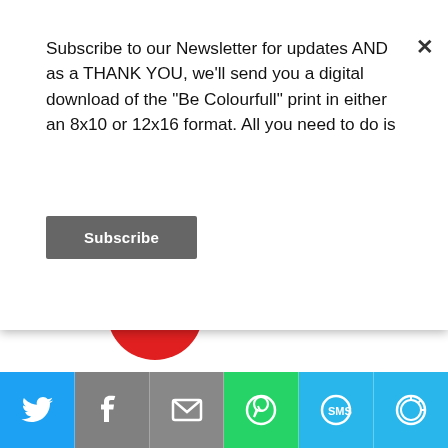Subscribe to our Newsletter for updates AND as a THANK YOU, we'll send you a digital download of the "Be Colourfull" print in either an 8x10 or 12x16 format. All you need to do is
Subscribe
[Figure (logo): Ninjamatics 2012 Canadian Weblog Awards badge with maple leaf and diagonal watermark stamp]
[Figure (illustration): Partial red maple leaf graphic at bottom of page]
[Figure (infographic): Social sharing bar with Twitter (blue), Facebook (grey), Email (grey), WhatsApp (green), SMS (light blue), More (light blue) buttons with white icons]